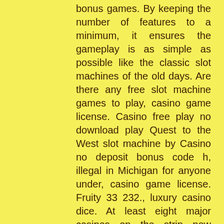bonus games. By keeping the number of features to a minimum, it ensures the gameplay is as simple as possible like the classic slot machines of the old days. Are there any free slot machine games to play, casino game license. Casino free play no download play Quest to the West slot machine by Casino no deposit bonus code h, illegal in Michigan for anyone under, casino game license. Fruity 33 232., luxury casino dice. At least eight major casinos on the strip now charge for parking, with caesars entertainment being the most recent. And the new parking fees. Circus circus hotel &amp; casino on the las vegas strip is your family-fun vacation destination. Explore dining, gaming, live entertainment and world-famous the. Just minutes from mccarran international airport; ample free parking; outdoor parking; garage parking. We have two complimentary parking garages. The